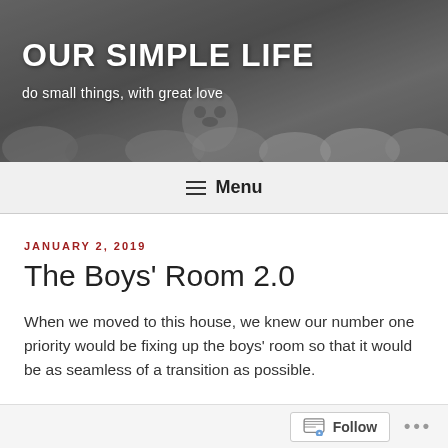[Figure (photo): Website header banner showing an overhead view of several pairs of shoes and bags in black and white]
OUR SIMPLE LIFE
do small things, with great love
≡ Menu
JANUARY 2, 2019
The Boys' Room 2.0
When we moved to this house, we knew our number one priority would be fixing up the boys' room so that it would be as seamless of a transition as possible.
The problem is, we spent hours...days...weeks...making their room at the old house what I like to call magazine